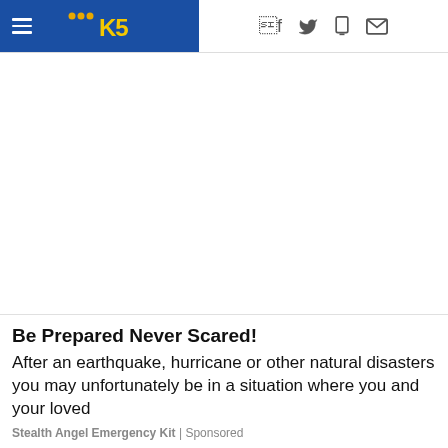KGW NBC5 logo with hamburger menu and social icons (f, twitter, phone, mail)
[Figure (other): Large blank white advertisement area]
Be Prepared Never Scared!
After an earthquake, hurricane or other natural disasters you may unfortunately be in a situation where you and your loved
Stealth Angel Emergency Kit | Sponsored